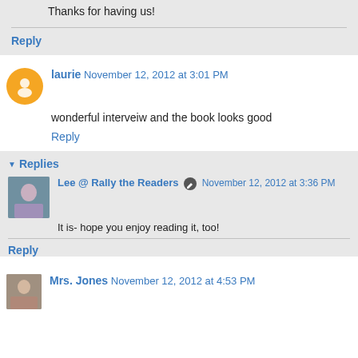Thanks for having us!
Reply
laurie November 12, 2012 at 3:01 PM
wonderful interveiw and the book looks good
Reply
Replies
Lee @ Rally the Readers November 12, 2012 at 3:36 PM
It is- hope you enjoy reading it, too!
Reply
Mrs. Jones November 12, 2012 at 4:53 PM